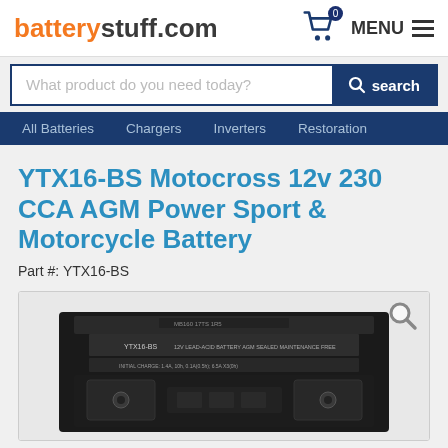batterystuff.com
What product do you need today?
All Batteries  Chargers  Inverters  Restoration
YTX16-BS Motocross 12v 230 CCA AGM Power Sport & Motorcycle Battery
Part #: YTX16-BS
[Figure (photo): Product photo of YTX16-BS black AGM motorcycle battery showing top terminals and label]